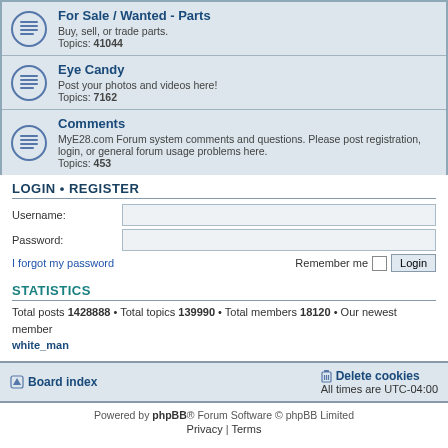For Sale / Wanted - Parts
Buy, sell, or trade parts. Topics: 41044
Eye Candy
Post your photos and videos here! Topics: 7162
Comments
MyE28.com Forum system comments and questions. Please post registration, login, or general forum usage problems here. Topics: 453
LOGIN • REGISTER
Username:
Password:
I forgot my password
Remember me
STATISTICS
Total posts 1428888 • Total topics 139990 • Total members 18120 • Our newest member white_man
Board index • Delete cookies • All times are UTC-04:00
Powered by phpBB® Forum Software © phpBB Limited Privacy | Terms